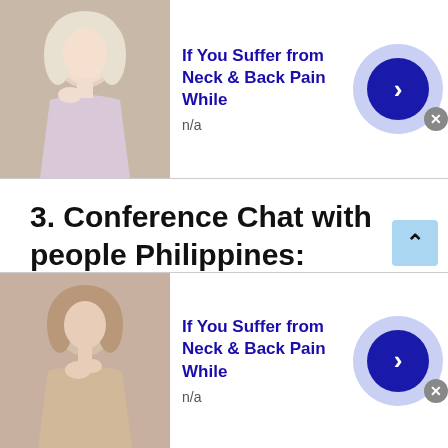[Figure (photo): Advertisement banner at top: woman touching her neck, text 'If You Suffer from Neck & Back Pain While', subtext 'n/a', with blue arrow button]
3. Conference Chat with people Philippines:
You might have heard of a group calling and chatting. Talk with strangers enables individuals to video chat with multiple people of Philippines. However, this feature does not limit itself to talking to random people only. Individuals who are present on the Filipino chat sites use this facility to group calls with friends and family members. Being a prime feature of
[Figure (photo): Advertisement banner at bottom: woman touching her neck/throat, text 'If You Suffer from Neck & Back Pain While', subtext 'n/a', with blue arrow button]